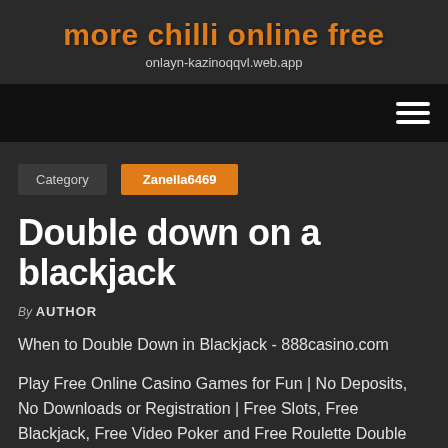more chilli online free
onlayn-kazinoqqvl.web.app
Category   Zanella6469
Double down on a blackjack
By AUTHOR
When to Double Down in Blackjack - 888casino.com
Play Free Online Casino Games for Fun | No Deposits, No Downloads or Registration | Free Slots, Free Blackjack, Free Video Poker and Free Roulette Double Down on a Blackjack